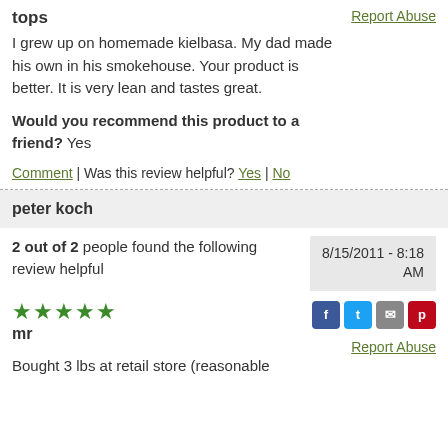tops
I grew up on homemade kielbasa. My dad made his own in his smokehouse. Your product is better. It is very lean and tastes great.
Would you recommend this product to a friend? Yes
Comment | Was this review helpful? Yes | No
peter koch
2 out of 2 people found the following review helpful
8/15/2011 - 8:18 AM
★★★★★
mr
Report Abuse
Bought 3 lbs at retail store (reasonable